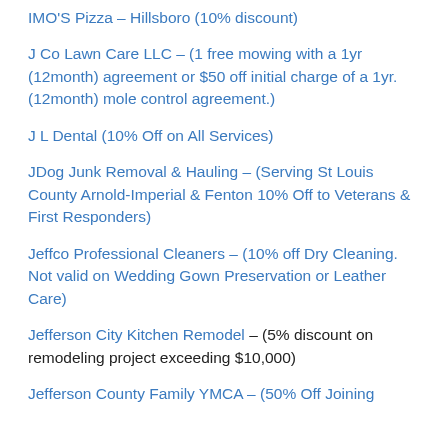IMO'S Pizza – Hillsboro (10% discount)
J Co Lawn Care LLC – (1 free mowing with a 1yr (12month) agreement or $50 off initial charge of a 1yr. (12month) mole control agreement.)
J L Dental (10% Off on All Services)
JDog Junk Removal & Hauling – (Serving St Louis County Arnold-Imperial & Fenton 10% Off to Veterans & First Responders)
Jeffco Professional Cleaners – (10% off Dry Cleaning. Not valid on Wedding Gown Preservation or Leather Care)
Jefferson City Kitchen Remodel – (5% discount on remodeling project exceeding $10,000)
Jefferson County Family YMCA – (50% Off Joining